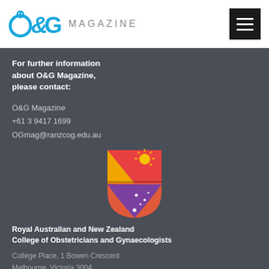O&G MAGAZINE
For further information about O&G Magazine, please contact:
O&G Magazine
+61 3 9417 1699
OGmag@ranzcog.edu.au
[Figure (logo): RANZCOG shield logo with sun, triangular shapes in orange, red, and purple with white stars]
Royal Australian and New Zealand College of Obstetricians and Gynaecologists
College Place, 1 Bowen Crescent
Melbourne, Victoria 3004
Australia
+61 3 9417 1699 | +61 3 9419 0672 | ranzcog@ranzcog.edu.au